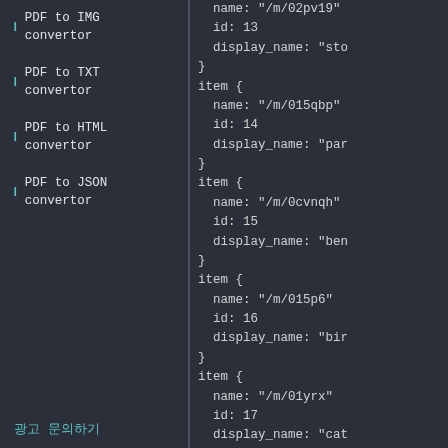❙ PDF to IMG convertor
❙ PDF to TXT convertor
❙ PDF to HTML convertor
❙ PDF to JSON convertor
광고 문의하기
name: "/m/02pv19"
  id: 13
  display_name: "sto
}
item {
  name: "/m/015qbp"
  id: 14
  display_name: "par
}
item {
  name: "/m/0cvnqh"
  id: 15
  display_name: "ben
}
item {
  name: "/m/015p6"
  id: 16
  display_name: "bir
}
item {
  name: "/m/01yrx"
  id: 17
  display_name: "cat
}
item {